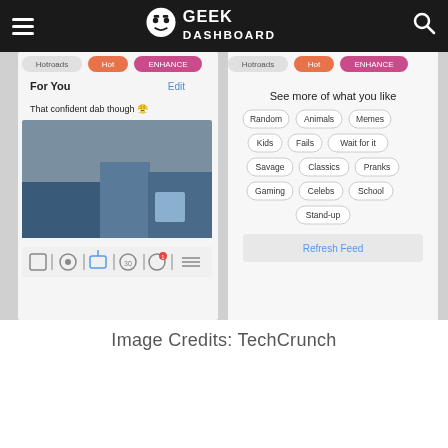Geek Dashboard
[Figure (screenshot): Screenshot of a mobile app interface showing 'For You' feed with a video thumbnail captioned 'That confident dab though' and a 'See more of what you like' panel with category tags: Random, Animals, Memes, Kids, Fails, Wait for it, Savage, Classics, Pranks, Gaming, Celebs, School, Stand-up, and a 'Refresh Feed' button. App navigation bar visible at bottom.]
Image Credits: TechCrunch